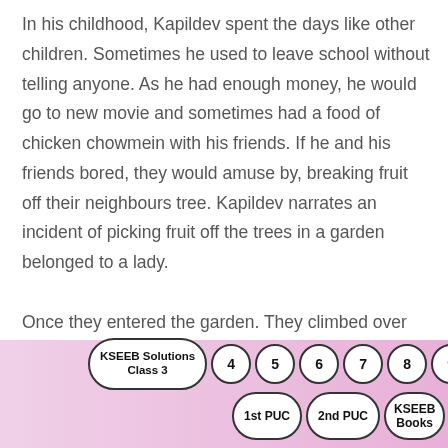In his childhood, Kapildev spent the days like other children. Sometimes he used to leave school without telling anyone. As he had enough money, he would go to new movie and sometimes had a food of chicken chowmein with his friends. If he and his friends bored, they would amuse by, breaking fruit off their neighbours tree. Kapildev narrates an incident of picking fruit off the trees in a garden belonged to a lady.

Once they entered the garden. They climbed over the wall and came on the top of the papaya tree. Meanwhile the lady came out of the house with some
[Figure (infographic): Navigation bar with oval buttons: KSEEB Solutions Class 3, and numbered circles 4 5 6 7 8 9 10, and a second row with 1st PUC, 2nd PUC, KSEEB Books on a pink-purple gradient background]